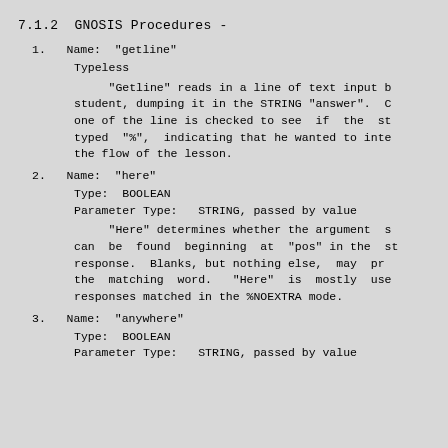7.1.2  GNOSIS Procedures -
1.   Name:  "getline"

        Typeless

             "Getline" reads in a line of text input b
     student, dumping it in the STRING "answer".  C
     one of the line is checked to see  if  the  st
     typed  "%",  indicating that he wanted to inte
     the flow of the lesson.
2.   Name:  "here"

        Type:  BOOLEAN
        Parameter Type:   STRING, passed by value

             "Here" determines whether the argument s
     can  be  found  beginning  at  "pos" in the st
     response.  Blanks, but nothing else,  may  pr
     the  matching  word.   "Here"  is  mostly  use
     responses matched in the %NOEXTRA mode.
3.   Name:  "anywhere"

        Type:  BOOLEAN
        Parameter Type:   STRING, passed by value